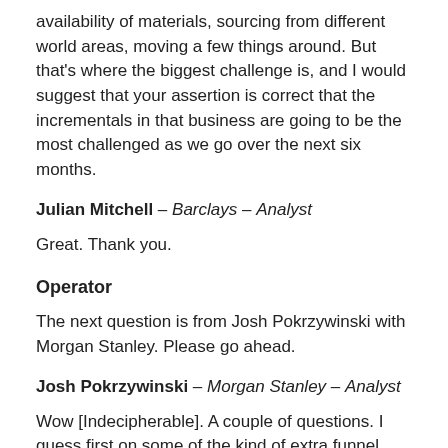availability of materials, sourcing from different world areas, moving a few things around. But that's where the biggest challenge is, and I would suggest that your assertion is correct that the incrementals in that business are going to be the most challenged as we go over the next six months.
Julian Mitchell — Barclays — Analyst
Great. Thank you.
Operator
The next question is from Josh Pokrzywinski with Morgan Stanley. Please go ahead.
Josh Pokrzywinski — Morgan Stanley — Analyst
Wow [Indecipherable]. A couple of questions. I guess first on some of the kind of extra funnel additions, particularly